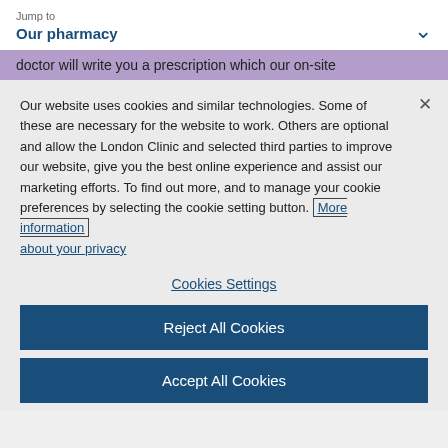Jump to
Our pharmacy
doctor will write you a prescription which our on-site
Our website uses cookies and similar technologies. Some of these are necessary for the website to work. Others are optional and allow the London Clinic and selected third parties to improve our website, give you the best online experience and assist our marketing efforts. To find out more, and to manage your cookie preferences by selecting the cookie setting button. More information about your privacy
Cookies Settings
Reject All Cookies
Accept All Cookies